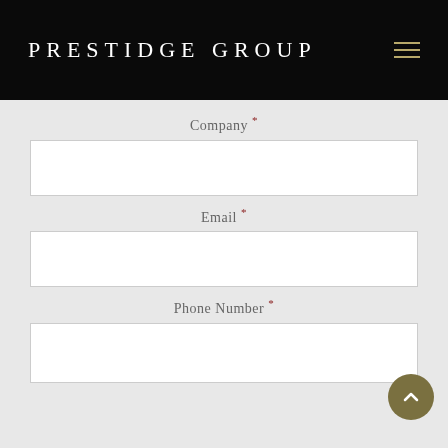PRESTIDGE GROUP
Company *
[Figure (screenshot): Empty text input field for Company]
Email *
[Figure (screenshot): Empty text input field for Email]
Phone Number *
[Figure (screenshot): Empty text input field for Phone Number]